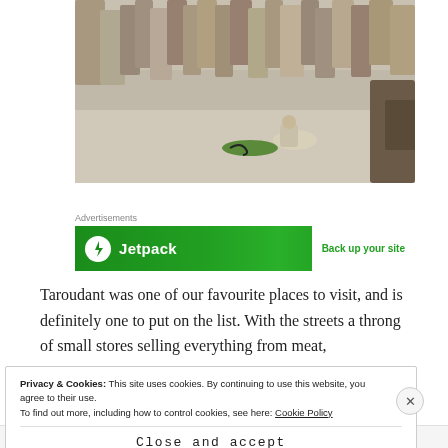[Figure (photo): Outdoor scene showing a crowd of people gathered around a person crouching on the ground in a public square, appearing to be a street performance or market scene in Taroudant.]
Advertisements
[Figure (other): Jetpack advertisement banner with green background. Left side shows Jetpack logo (lightning bolt icon) and name. Right side white button reads 'Back up your site'.]
Taroudant was one of our favourite places to visit, and is definitely one to put on the list. With the streets a throng of small stores selling everything from meat,
Privacy & Cookies: This site uses cookies. By continuing to use this website, you agree to their use.
To find out more, including how to control cookies, see here: Cookie Policy
Close and accept